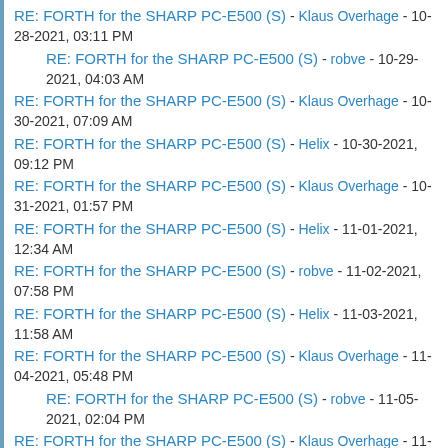RE: FORTH for the SHARP PC-E500 (S) - Klaus Overhage - 10-28-2021, 03:11 PM
RE: FORTH for the SHARP PC-E500 (S) - robve - 10-29-2021, 04:03 AM
RE: FORTH for the SHARP PC-E500 (S) - Klaus Overhage - 10-30-2021, 07:09 AM
RE: FORTH for the SHARP PC-E500 (S) - Helix - 10-30-2021, 09:12 PM
RE: FORTH for the SHARP PC-E500 (S) - Klaus Overhage - 10-31-2021, 01:57 PM
RE: FORTH for the SHARP PC-E500 (S) - Helix - 11-01-2021, 12:34 AM
RE: FORTH for the SHARP PC-E500 (S) - robve - 11-02-2021, 07:58 PM
RE: FORTH for the SHARP PC-E500 (S) - Helix - 11-03-2021, 11:58 AM
RE: FORTH for the SHARP PC-E500 (S) - Klaus Overhage - 11-04-2021, 05:48 PM
RE: FORTH for the SHARP PC-E500 (S) - robve - 11-05-2021, 02:04 PM
RE: FORTH for the SHARP PC-E500 (S) - Klaus Overhage - 11-06-2021, 10:40 AM
RE: FORTH for the SHARP PC-E500 (S) - robve - 11-06-2021, 07:31 PM
RE: FORTH for the SHARP PC-E500 (S) - robve - 11-07-2021, 01:15 AM
RE: FORTH for the SHARP PC-E500 (S) - Klaus Overhage - 11-07